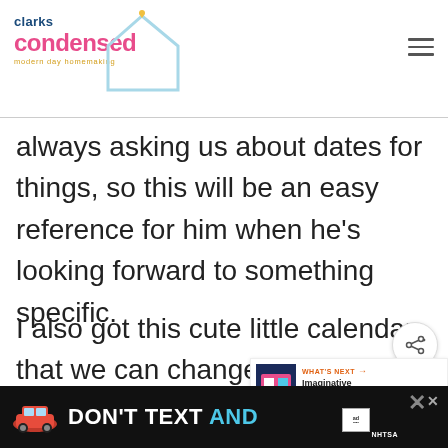[Figure (logo): Clarks Condensed logo with house icon and tagline 'modern day homemaking']
always asking us about dates for things, so this will be an easy reference for him when he's looking forward to something specific.
I also got this cute little calendar that we can change every day. I primarily got it for Oliver during the warmer...
[Figure (infographic): What's Next promotional box with toy image and text 'Imaginative Play Gift Ide...']
[Figure (infographic): DON'T TEXT AND drive safety advertisement banner from NHTSA with red car graphic]